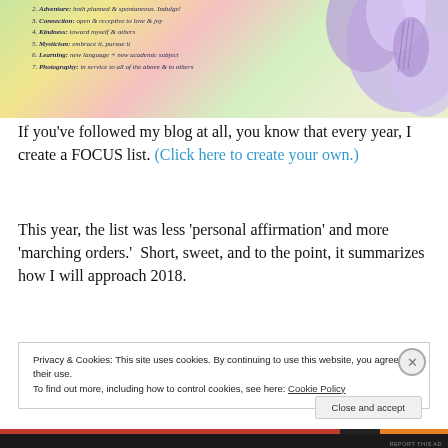[Figure (photo): Photo of a purple iris flower on a colorful soft background (green, yellow, pink), with a handwritten italic list overlaid on the left side showing 7 focus items numbered 2-7.]
If you've followed my blog at all, you know that every year, I create a FOCUS list. (Click here to create your own.)
This year, the list was less 'personal affirmation' and more 'marching orders.'  Short, sweet, and to the point, it summarizes how I will approach 2018.
Privacy & Cookies: This site uses cookies. By continuing to use this website, you agree to their use.
To find out more, including how to control cookies, see here: Cookie Policy
Close and accept